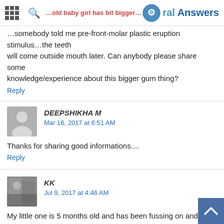Oral Answers
will come outside mouth later. Can anybody please share some knowledge/experience about this bigger gum thing?
Reply
DEEPSHIKHA M
Mar 16, 2017 at 6:51 AM
Thanks for sharing good informations....
Reply
KK
Jul 9, 2017 at 4:46 AM
My little one is 5 months old and has been fussing on and off for the last 2wks.. I originally thought it was colic but hasn't had any problems passing wind, but he has been biting down hard on